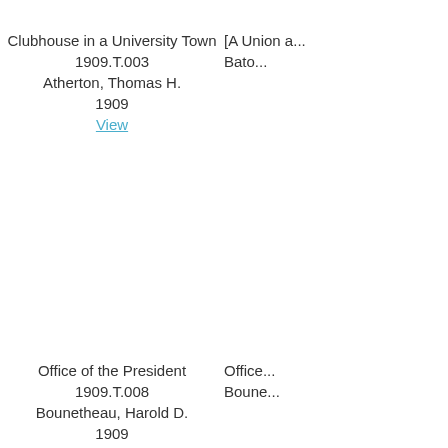Clubhouse in a University Town
1909.T.003
Atherton, Thomas H.
1909
View
[A Union a...
Bato...
Office of the President
1909.T.008
Bounetheau, Harold D.
1909
View
Office...
Boune...